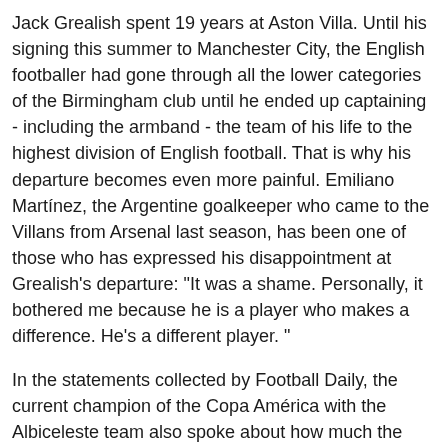Jack Grealish spent 19 years at Aston Villa. Until his signing this summer to Manchester City, the English footballer had gone through all the lower categories of the Birmingham club until he ended up captaining - including the armband - the team of his life to the highest division of English football. That is why his departure becomes even more painful. Emiliano Martínez, the Argentine goalkeeper who came to the Villans from Arsenal last season, has been one of those who has expressed his disappointment at Grealish's departure: "It was a shame. Personally, it bothered me because he is a player who makes a difference. He's a different player. "
In the statements collected by Football Daily, the current champion of the Copa América with the Albiceleste team also spoke about how much the already '10' of the Citizen team impressed him when he still belonged to Aston Villa. "I remember when I got here he was like Messi but with the right foot. There is a lot of talent in him," said Emi. However, from the Birmingham team they have also understood his departure: "He gave a lot to this football club, but we understood his dreams.